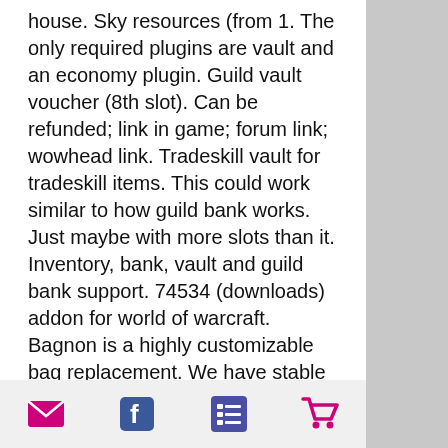house. Sky resources (from 1. The only required plugins are vault and an economy plugin. Guild vault voucher (8th slot). Can be refunded; link in game; forum link; wowhead link. Tradeskill vault for tradeskill items. This could work similar to how guild bank works. Just maybe with more slots than it. Inventory, bank, vault and guild bank support. 74534 (downloads) addon for world of warcraft. Bagnon is a highly customizable bag replacement. We have stable hand-making classic wow tbc gold suppliers ban'ethil barrow den. The world of warcraft guild overrated has been permanently banned. First, buy a guild bank tab at the guild vault. Once you have bought the tab, the basic permissions and icons are set to their default values. Unlock repository- this is where you buy your guild bank slots. Note: they are
[mail icon] [facebook icon] [list icon] [cart icon]